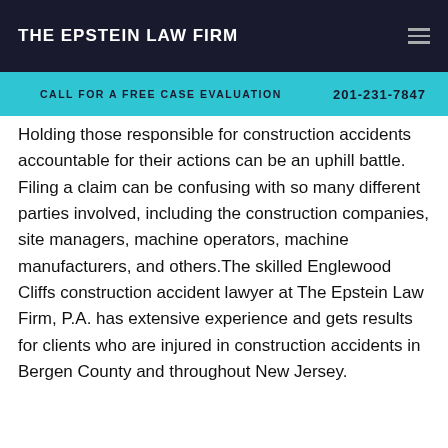THE EPSTEIN LAW FIRM
CALL FOR A FREE CASE EVALUATION   201-231-7847
Holding those responsible for construction accidents accountable for their actions can be an uphill battle. Filing a claim can be confusing with so many different parties involved, including the construction companies, site managers, machine operators, machine manufacturers, and others.The skilled Englewood Cliffs construction accident lawyer at The Epstein Law Firm, P.A. has extensive experience and gets results for clients who are injured in construction accidents in Bergen County and throughout New Jersey.